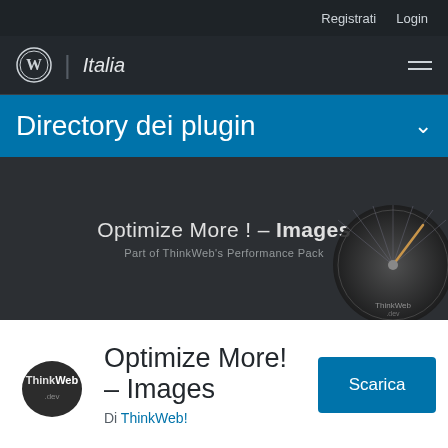Registrati   Login
WordPress | Italia
Directory dei plugin
[Figure (screenshot): Plugin banner image for 'Optimize More! – Images' by ThinkWeb. Dark background with plugin title text and a circular speedometer graphic on the right with ThinkWeb branding.]
Optimize More! – Images
Di ThinkWeb!